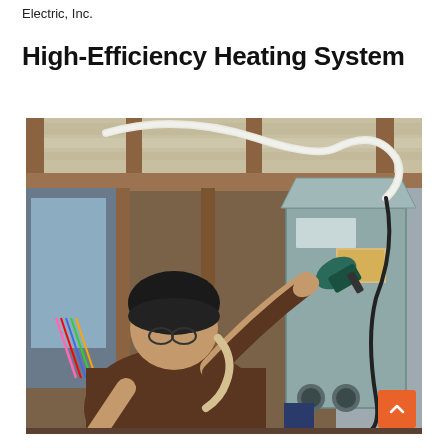Electric, Inc.
High-Efficiency Heating System
[Figure (photo): A technician wearing a dark beanie and brown shirt works on installing or inspecting a high-efficiency heating/HVAC unit in a building under construction. The space shows exposed wooden framing, insulation foil on the ceiling, and colorful wiring. The technician is reaching up toward a large gray metal HVAC unit with a power tool in hand, with a white hose/tube looping above.]